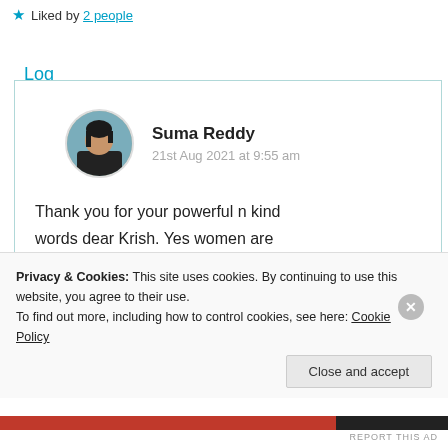★ Liked by 2 people
Log in to Reply
Suma Reddy
21st Aug 2021 at 9:55 am
Thank you for your powerful n kind words dear Krish. Yes women are being used with ill intensions n it's
Privacy & Cookies: This site uses cookies. By continuing to use this website, you agree to their use.
To find out more, including how to control cookies, see here: Cookie Policy
Close and accept